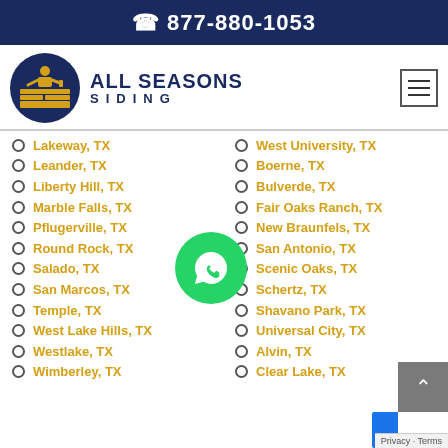📞 877-880-1053
[Figure (logo): All Seasons Siding logo with circular navy icon of a construction worker on bricks]
Lakeway, TX
West University, TX
Leander, TX
Boerne, TX
Liberty Hill, TX
Bulverde, TX
Marble Falls, TX
Fair Oaks Ranch, TX
Pflugerville, TX
New Braunfels, TX
Round Rock, TX
San Antonio, TX
Salado, TX
Scenic Oaks, TX
San Marcos, TX
Schertz, TX
Temple, TX
Shavano Park, TX
West Lake Hills, TX
Universal City, TX
Westlake, TX
Alvin, TX
Wimberley, TX
Clear Lake, TX